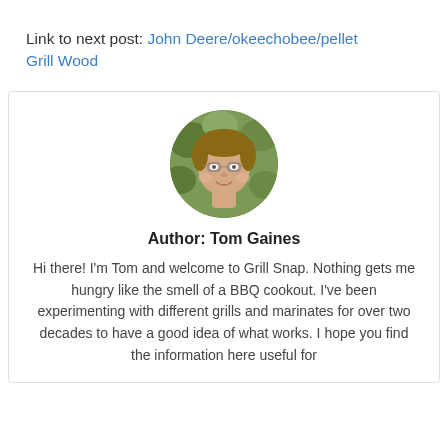Link to next post: John Deere/okeechobee/pellet Grill Wood
[Figure (photo): Circular profile photo of a smiling young man with glasses, in front of green foliage background.]
Author: Tom Gaines
Hi there! I'm Tom and welcome to Grill Snap. Nothing gets me hungry like the smell of a BBQ cookout. I've been experimenting with different grills and marinates for over two decades to have a good idea of what works. I hope you find the information here useful for